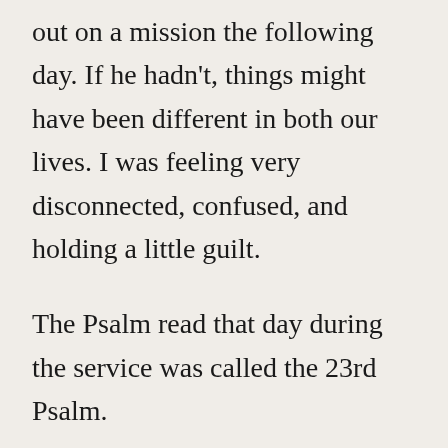out on a mission the following day. If he hadn't, things might have been different in both our lives. I was feeling very disconnected, confused, and holding a little guilt.
The Psalm read that day during the service was called the 23rd Psalm.
“The Lord is my shepherd; I shall not